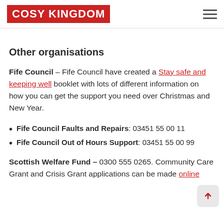COSY KINGDOM
Other organisations
Fife Council – Fife Council have created a Stay safe and keeping well booklet with lots of different information on how you can get the support you need over Christmas and New Year.
Fife Council Faults and Repairs: 03451 55 00 11
Fife Council Out of Hours Support: 03451 55 00 99
Scottish Welfare Fund – 0300 555 0265. Community Care Grant and Crisis Grant applications can be made online